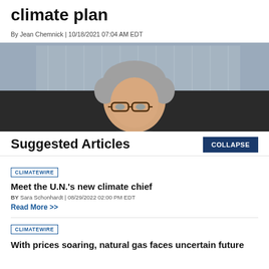climate plan
By Jean Chemnick | 10/18/2021 07:04 AM EDT
[Figure (photo): Close-up photo of a woman with short gray hair and glasses, with a blurred government building in the background.]
Suggested Articles
CLIMATEWIRE
Meet the U.N.'s new climate chief
BY Sara Schonhardt | 08/29/2022 02:00 PM EDT
Read More >>
CLIMATEWIRE
With prices soaring, natural gas faces uncertain future